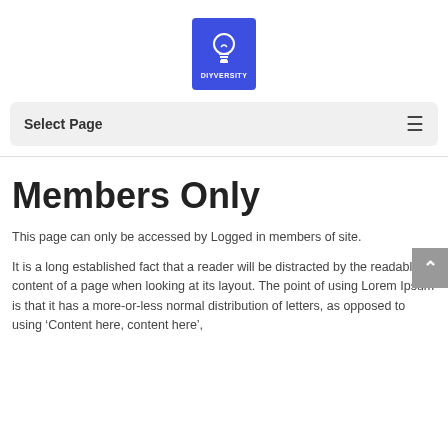[Figure (logo): DIYVERSITY logo — blue square with white lightbulb icon and text DIYVERSITY]
Select Page
Members Only
This page can only be accessed by Logged in members of site.
It is a long established fact that a reader will be distracted by the readable content of a page when looking at its layout. The point of using Lorem Ipsum is that it has a more-or-less normal distribution of letters, as opposed to using ‘Content here, content here’,